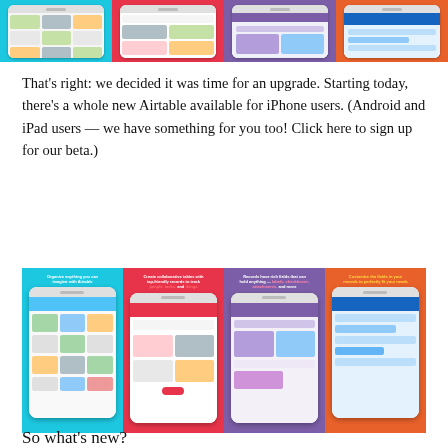[Figure (screenshot): Strip of four Airtable iPhone app screenshots with colored backgrounds (cyan, red, purple, orange) showing app UI at top of page]
That's right: we decided it was time for an upgrade. Starting today, there's a whole new Airtable available for iPhone users. (Android and iPad users — we have something for you too! Click here to sign up for our beta.)
[Figure (screenshot): Strip of four Airtable iPhone app screenshots with colored backgrounds (cyan, red, purple, orange) showing app UI with captions above each phone]
So what's new?